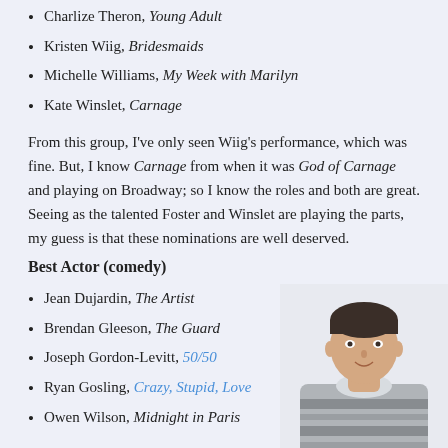Charlize Theron, Young Adult
Kristen Wiig, Bridesmaids
Michelle Williams, My Week with Marilyn
Kate Winslet, Carnage
From this group, I've only seen Wiig's performance, which was fine. But, I know Carnage from when it was God of Carnage and playing on Broadway; so I know the roles and both are great. Seeing as the talented Foster and Winslet are playing the parts, my guess is that these nominations are well deserved.
Best Actor (comedy)
Jean Dujardin, The Artist
Brendan Gleeson, The Guard
Joseph Gordon-Levitt, 50/50
Ryan Gosling, Crazy, Stupid, Love
Owen Wilson, Midnight in Paris
[Figure (photo): Photo of a young man wearing a grey patterned sweater over a collared shirt, smiling slightly, cropped at approximately waist height]